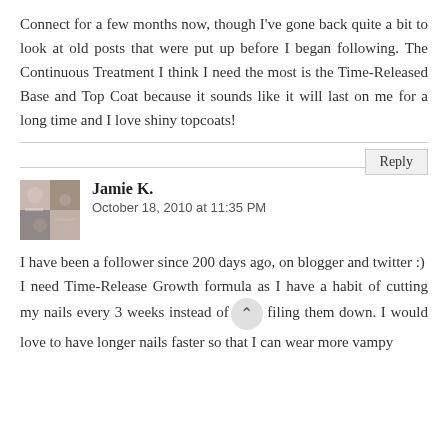Connect for a few months now, though I've gone back quite a bit to look at old posts that were put up before I began following. The Continuous Treatment I think I need the most is the Time-Released Base and Top Coat because it sounds like it will last on me for a long time and I love shiny topcoats!
Reply
Jamie K.
October 18, 2010 at 11:35 PM
I have been a follower since 200 days ago, on blogger and twitter :)
I need Time-Release Growth formula as I have a habit of cutting my nails every 3 weeks instead of filing them down. I would love to have longer nails faster so that I can wear more vampy